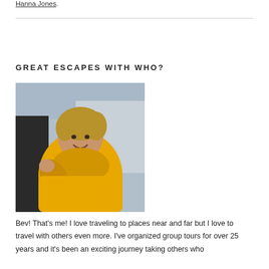Hanna Jones.
GREAT ESCAPES WITH WHO?
[Figure (photo): A smiling woman wearing a yellow rain jacket, waving, photographed outdoors near a vehicle.]
Bev! That's me! I love traveling to places near and far but I love to travel with others even more. I've organized group tours for over 25 years and it's been an exciting journey taking others who